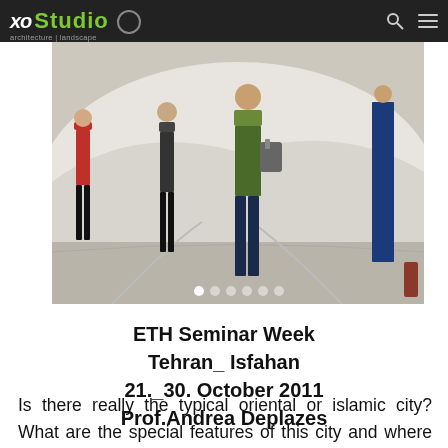XO Studio — architecture | landscape
[Figure (photo): Photograph of people walking on a paved outdoor area, with a large curved white structure or tent in the background. Multiple figures visible including one carrying a bag in a green jacket and another in a grey jacket.]
ETH Seminar Week
Tehran_ Isfahan
21._30. October 2011
Prof.Andrea Deplazes
Is there really the typical oriental or islamic city? What are the special features of this city and where are the advantages and